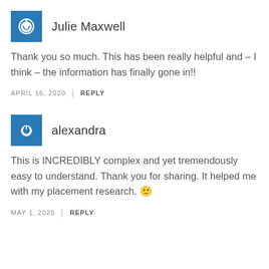Julie Maxwell
Thank you so much. This has been really helpful and – I think – the information has finally gone in!!
APRIL 16, 2020 | REPLY
alexandra
This is INCREDIBLY complex and yet tremendously easy to understand. Thank you for sharing. It helped me with my placement research. 🙂
MAY 1, 2020 | REPLY